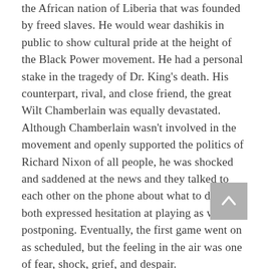the African nation of Liberia that was founded by freed slaves. He would wear dashikis in public to show cultural pride at the height of the Black Power movement. He had a personal stake in the tragedy of Dr. King's death. His counterpart, rival, and close friend, the great Wilt Chamberlain was equally devastated. Although Chamberlain wasn't involved in the movement and openly supported the politics of Richard Nixon of all people, he was shocked and saddened at the news and they talked to each other on the phone about what to do. They both expressed hesitation at playing as well as postponing. Eventually, the first game went on as scheduled, but the feeling in the air was one of fear, shock, grief, and despair. Nevertheless, …Dr. King…